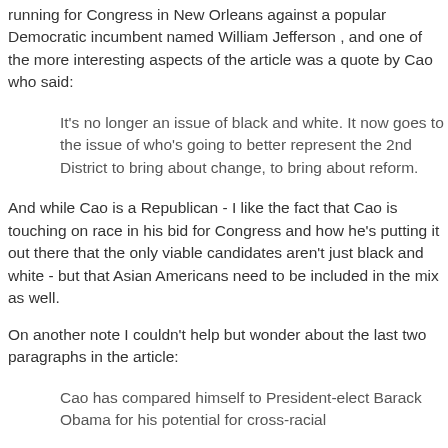running for Congress in New Orleans against a popular Democratic incumbent named William Jefferson , and one of the more interesting aspects of the article was a quote by Cao who said:
It's no longer an issue of black and white. It now goes to the issue of who's going to better represent the 2nd District to bring about change, to bring about reform.
And while Cao is a Republican - I like the fact that Cao is touching on race in his bid for Congress and how he's putting it out there that the only viable candidates aren't just black and white - but that Asian Americans need to be included in the mix as well.
On another note I couldn't help but wonder about the last two paragraphs in the article:
Cao has compared himself to President-elect Barack Obama for his potential for cross-racial